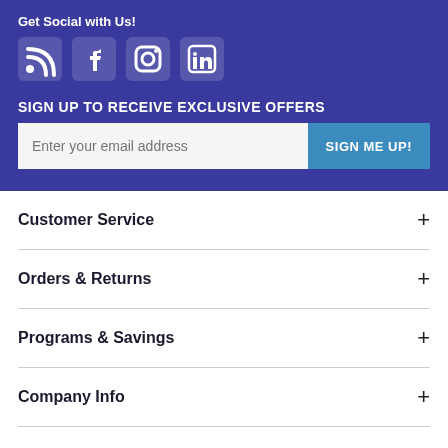Get Social with Us!
[Figure (illustration): Social media icons: RSS feed, Facebook, Instagram, LinkedIn]
SIGN UP TO RECEIVE EXCLUSIVE OFFERS
Enter your email address | SIGN ME UP!
Customer Service +
Orders & Returns +
Programs & Savings +
Company Info +
Need Help? +